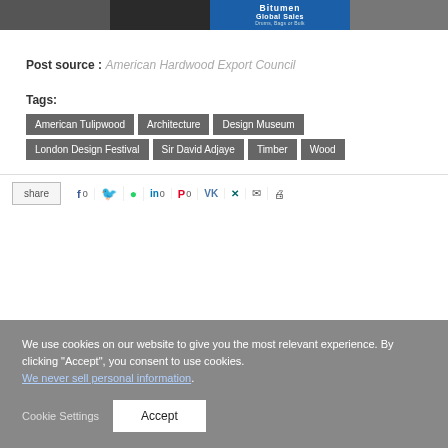[Figure (photo): Banner advertisement for Bitumen Global Sales - Drums, Bags or Bulk]
Post source :  American Hardwood Export Council
Tags: American Tulipwood  Architecture  Design Museum  London Design Festival  Sir David Adjaye  Timber  Wood
share  f 0  Twitter  WhatsApp  in 0  Pinterest 0  VK  XING  mail  print
We use cookies on our website to give you the most relevant experience. By clicking "Accept", you consent to use cookies. We never sell personal information.
Cookie Settings  Accept